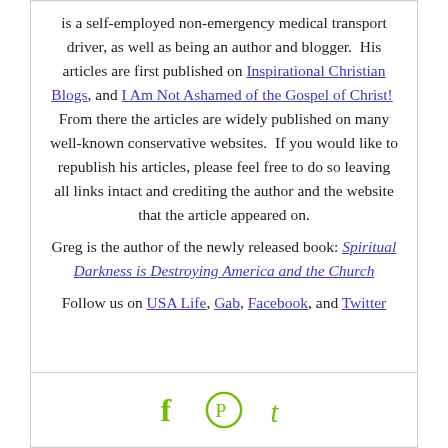is a self-employed non-emergency medical transport driver, as well as being an author and blogger. His articles are first published on Inspirational Christian Blogs, and I Am Not Ashamed of the Gospel of Christ! From there the articles are widely published on many well-known conservative websites. If you would like to republish his articles, please feel free to do so leaving all links intact and crediting the author and the website that the article appeared on.

Greg is the author of the newly released book: Spiritual Darkness is Destroying America and the Church

Follow us on USA Life, Gab, Facebook, and Twitter
[Figure (other): Social share icons: Facebook (f), Pinterest (Pinterest logo), Tumblr (t) in green]